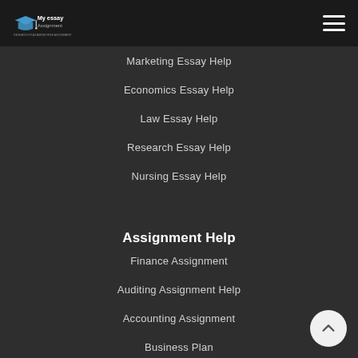My essay Assignment — navigation header with logo and hamburger menu
Marketing Essay Help
Economics Essay Help
Law Essay Help
Research Essay Help
Nursing Essay Help
Assignment Help
Finance Assignment
Auditing Assignment Help
Accounting Assignment
Business Plan
Feasibility Study